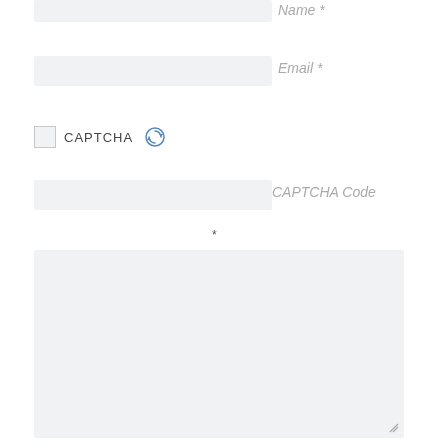[Figure (screenshot): Web form input field for Name]
Name *
[Figure (screenshot): Web form input field for Email]
Email *
[Figure (screenshot): CAPTCHA section with image placeholder, label and refresh icon]
CAPTCHA Code
[Figure (screenshot): Web form input field for CAPTCHA Code]
*
[Figure (screenshot): Large textarea input field with resize handle]